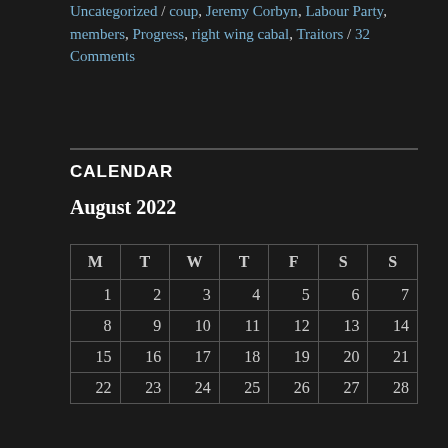Uncategorized / coup, Jeremy Corbyn, Labour Party, members, Progress, right wing cabal, Traitors / 32 Comments
CALENDAR
August 2022
| M | T | W | T | F | S | S |
| --- | --- | --- | --- | --- | --- | --- |
| 1 | 2 | 3 | 4 | 5 | 6 | 7 |
| 8 | 9 | 10 | 11 | 12 | 13 | 14 |
| 15 | 16 | 17 | 18 | 19 | 20 | 21 |
| 22 | 23 | 24 | 25 | 26 | 27 | 28 |